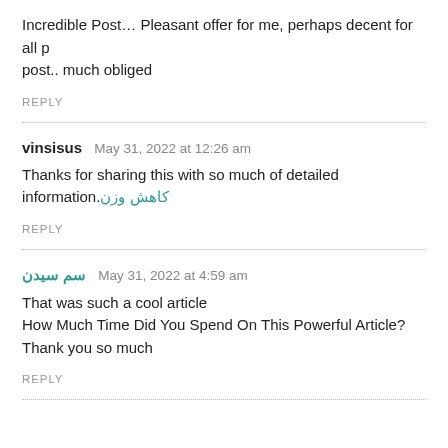Incredible Post… Pleasant offer for me, perhaps decent for all p post.. much obliged
REPLY
vinsisus  May 31, 2022 at 12:26 am
Thanks for sharing this with so much of detailed information.کاهش وزن
REPLY
سم سیدن  May 31, 2022 at 4:59 am
That was such a cool article
How Much Time Did You Spend On This Powerful Article?
Thank you so much
REPLY